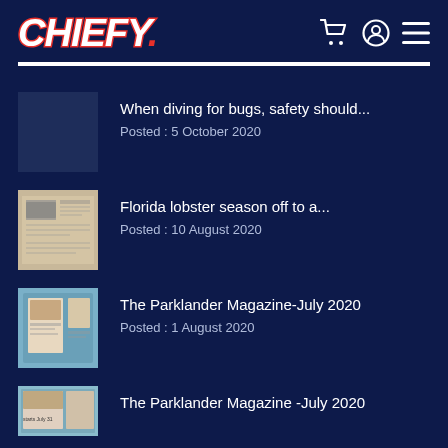CHIEFY.
When diving for bugs, safety should...
Posted : 5 October 2020
Florida lobster season off to a...
Posted : 10 August 2020
The Parklander Magazine-July 2020
Posted : 1 August 2020
The Parklander Magazine -July 2020